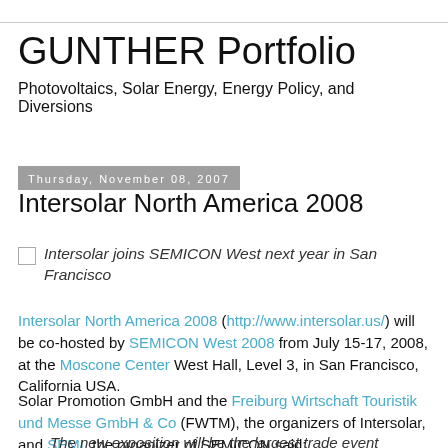GUNTHER Portfolio
Photovoltaics, Solar Energy, Energy Policy, and Diversions
Thursday, November 08, 2007
Intersolar North America 2008
Intersolar joins SEMICON West next year in San Francisco
Intersolar North America 2008 (http://www.intersolar.us/) will be co-hosted by SEMICON West 2008 from July 15-17, 2008, at the Moscone Center West Hall, Level 3, in San Francisco, California USA.
Solar Promotion GmbH and the Freiburg Wirtschaft Touristik und Messe GmbH & Co (FWTM), the organizers of Intersolar, and SEMI, the organizer of SEMICON said:
The new exposition will be the largest trade event...